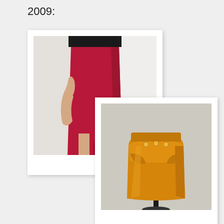2009:
[Figure (photo): Polaroid-style photo of a woman wearing a red pencil skirt, shown from waist down against a white/light background]
[Figure (photo): Polaroid-style photo of an orange/mustard peplum pencil skirt on a dress form/mannequin against a light background]